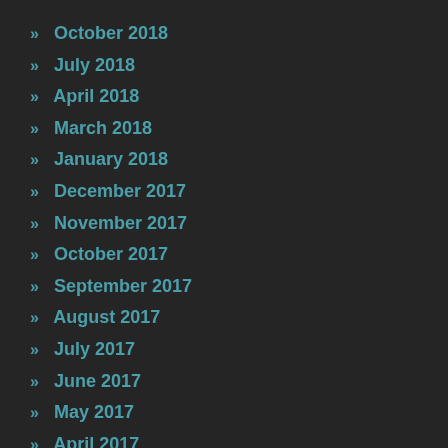» October 2018
» July 2018
» April 2018
» March 2018
» January 2018
» December 2017
» November 2017
» October 2017
» September 2017
» August 2017
» July 2017
» June 2017
» May 2017
» April 2017